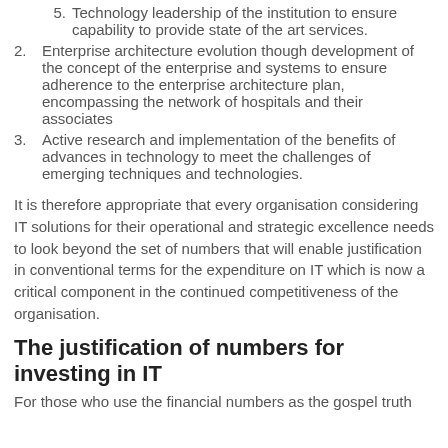5. Technology leadership of the institution to ensure capability to provide state of the art services.
2. Enterprise architecture evolution though development of the concept of the enterprise and systems to ensure adherence to the enterprise architecture plan, encompassing the network of hospitals and their associates
3. Active research and implementation of the benefits of advances in technology to meet the challenges of emerging techniques and technologies.
It is therefore appropriate that every organisation considering IT solutions for their operational and strategic excellence needs to look beyond the set of numbers that will enable justification in conventional terms for the expenditure on IT which is now a critical component in the continued competitiveness of the organisation.
The justification of numbers for investing in IT
For those who use the financial numbers as the gospel truth